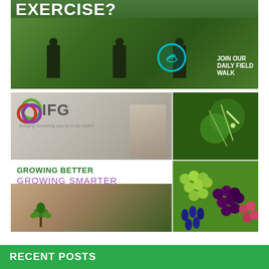[Figure (photo): Top banner showing three people walking in a green agricultural field with text 'EXERCISE?' and 'JOIN OUR DAILY FIELD WALK' overlay with a running shoe icon in a teal circle]
[Figure (photo): IFG (International Fruit Genetics) promotional banner with logo, worker in field, close-up of plant needle, mixed grape varieties, and desert seedling. Text reads 'GROWING BETTER GROWING SMARTER']
RECENT POSTS